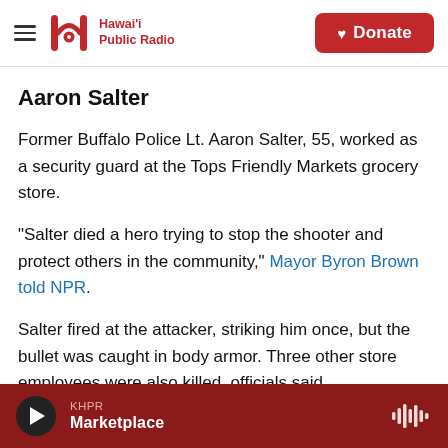Hawai'i Public Radio — Donate
Aaron Salter
Former Buffalo Police Lt. Aaron Salter, 55, worked as a security guard at the Tops Friendly Markets grocery store.
"Salter died a hero trying to stop the shooter and protect others in the community," Mayor Byron Brown told NPR.
Salter fired at the attacker, striking him once, but the bullet was caught in body armor. Three other store employees were also killed, officials said.
KHPR Marketplace